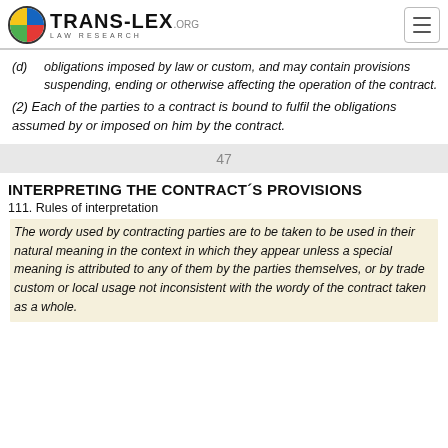TRANS-LEX.ORG LAW RESEARCH
(d) obligations imposed by law or custom, and may contain provisions suspending, ending or otherwise affecting the operation of the contract.
(2) Each of the parties to a contract is bound to fulfil the obligations assumed by or imposed on him by the contract.
47
INTERPRETING THE CONTRACT´S PROVISIONS
111. Rules of interpretation
The wordy used by contracting parties are to be taken to be used in their natural meaning in the context in which they appear unless a special meaning is attributed to any of them by the parties themselves, or by trade custom or local usage not inconsistent with the wordy of the contract taken as a whole.